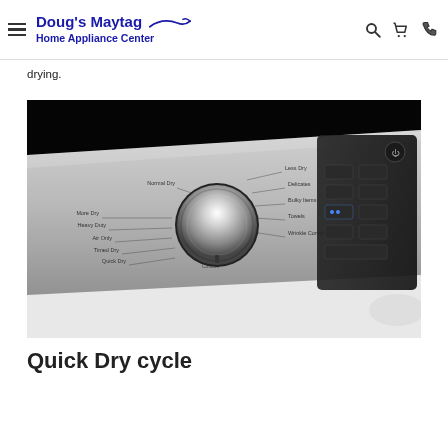Doug's Maytag Home Appliance Center
drying.
[Figure (photo): Close-up photo of a dryer control panel with a large metallic dial knob showing cycle settings: Less Dry, Normal Dry, Delicates, Bulky Items, Towels, Wrinkle Control, More Dry, Heavy Duty, Air Only, Timed Dry, Quick Dry, Custom. Digital button panel visible on the right side.]
Quick Dry cycle